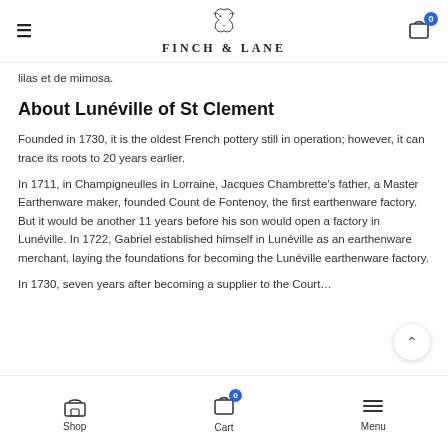FINCH & LANE
lilas et de mimosa.
About Lunéville of St Clement
Founded in 1730, it is the oldest French pottery still in operation; however, it can trace its roots to 20 years earlier.
In 1711, in Champigneulles in Lorraine, Jacques Chambrette's father, a Master Earthenware maker, founded Count de Fontenoy, the first earthenware factory. But it would be another 11 years before his son would open a factory in Lunéville. In 1722, Gabriel established himself in Lunéville as an earthenware merchant, laying the foundations for becoming the Lunéville earthenware factory.
In 1730, seven years after becoming a supplier to the Court…
Shop  Cart  Menu